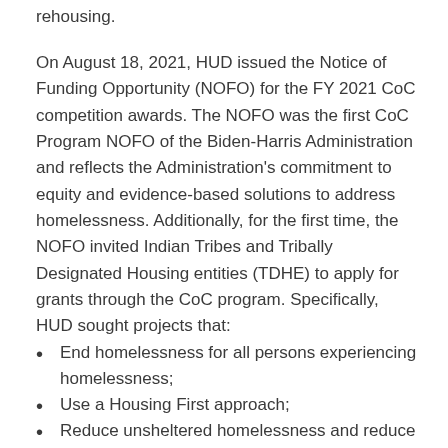rehousing.
On August 18, 2021, HUD issued the Notice of Funding Opportunity (NOFO) for the FY 2021 CoC competition awards. The NOFO was the first CoC Program NOFO of the Biden-Harris Administration and reflects the Administration's commitment to equity and evidence-based solutions to address homelessness. Additionally, for the first time, the NOFO invited Indian Tribes and Tribally Designated Housing entities (TDHE) to apply for grants through the CoC program. Specifically, HUD sought projects that:
End homelessness for all persons experiencing homelessness;
Use a Housing First approach;
Reduce unsheltered homelessness and reduce the criminalization of homelessness;